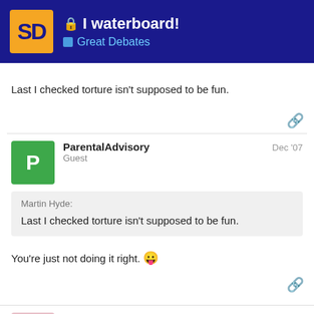I waterboard! — Great Debates
Last I checked torture isn't supposed to be fun.
ParentalAdvisory — Guest — Dec '07
Martin Hyde: Last I checked torture isn't supposed to be fun.
You're just not doing it right. 😛
Guinastasia — Guest — Dec '07
17 / 512